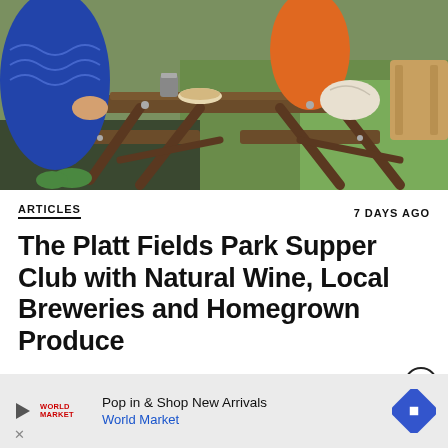[Figure (photo): Outdoor photo of people sitting at a wooden picnic table on green grass. A person in a blue patterned jacket is visible on the left side, and items including bowls and food are on the table. Another person in an orange jacket is partially visible in the background.]
ARTICLES
7 DAYS AGO
The Platt Fields Park Supper Club with Natural Wine, Local Breweries and Homegrown Produce
[Figure (other): Advertisement banner: Pop in & Shop New Arrivals - World Market, with a navigation arrow icon and World Market logo.]